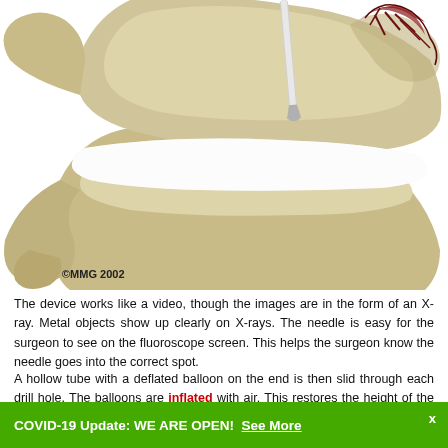[Figure (illustration): Medical illustration of spinal vertebrae showing a needle/tool inserted into the vertebral area, with what appears to be a damaged/fractured vertebra. Copyright MMG 2002 shown in lower left of illustration.]
The device works like a video, though the images are in the form of an X-ray. Metal objects show up clearly on X-rays. The needle is easy for the surgeon to see on the fluoroscope screen. This helps the surgeon know the needle goes into the correct spot.
A hollow tube with a deflated balloon on the end is then slid through each drill hole. The balloons are inflated with air. This restores the height of the vertebral body and corrects the kyphosis deformity.
Balloons Inflated
COVID-19 Update: WE ARE OPEN! See More